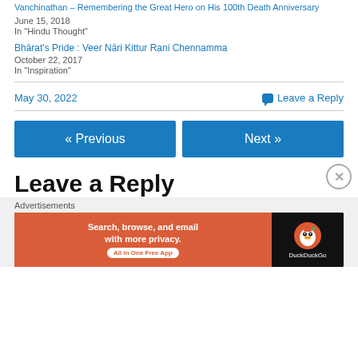Vanchinathan – Remembering the Great Hero on His 100th Death Anniversary
June 15, 2018
In "Hindu Thought"
Bhārat's Pride : Veer Nāri Kittur Rani Chennamma
October 22, 2017
In "Inspiration"
May 30, 2022
Leave a Reply
« Previous
Next »
Leave a Reply
Advertisements
[Figure (screenshot): DuckDuckGo advertisement banner: orange left panel with text 'Search, browse, and email with more privacy. All in One Free App', and dark right panel with DuckDuckGo logo and name.]